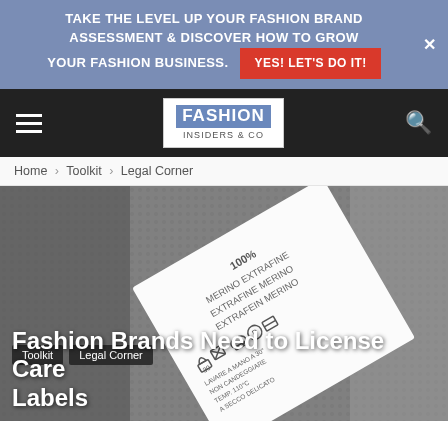TAKE THE LEVEL UP YOUR FASHION BRAND ASSESSMENT & DISCOVER HOW TO GROW YOUR FASHION BUSINESS. YES! LET'S DO IT!
[Figure (logo): Fashion Insiders & Co logo in navigation bar]
Home › Toolkit › Legal Corner
[Figure (photo): Close-up photo of a clothing care label on grey knit fabric. Label reads: 100% MERINO EXTRAFINE MERINO EXTRAFINE MERINO EXTRAFEIN MERINO, with care symbols (wash 30, do not bleach, iron, dry clean) and instructions in Italian: LAVARE A MANO A 30°, NON CANDEGGIARE, TEMP. 110°C, A SECCO DELICATO]
Fashion Brands Need to License Care Labels